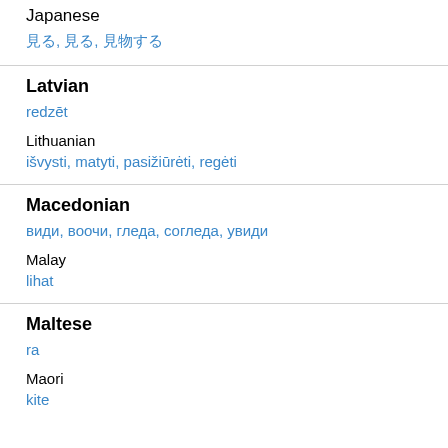Japanese
見る, 見る, 見物する
Latvian
redzēt
Lithuanian
išvysti, matyti, pasižiūrėti, regėti
Macedonian
види, воочи, гледа, согледа, увиди
Malay
lihat
Maltese
ra
Maori
kite